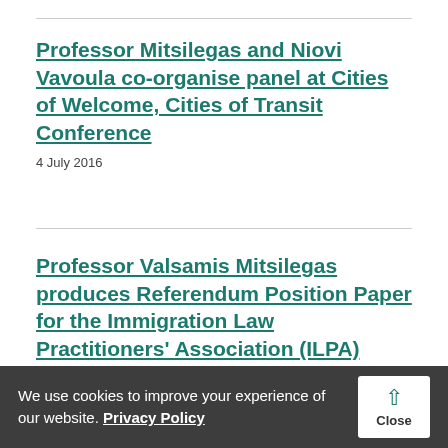Professor Mitsilegas and Niovi Vavoula co-organise panel at Cities of Welcome, Cities of Transit Conference
4 July 2016
Professor Valsamis Mitsilegas produces Referendum Position Paper for the Immigration Law Practitioners' Association (ILPA)
We use cookies to improve your experience of our website. Privacy Policy